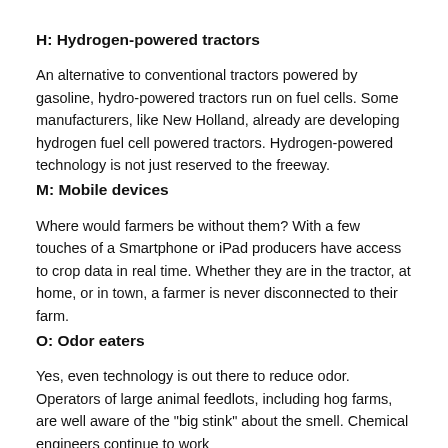H: Hydrogen-powered tractors
An alternative to conventional tractors powered by gasoline, hydro-powered tractors run on fuel cells. Some manufacturers, like New Holland, already are developing hydrogen fuel cell powered tractors. Hydrogen-powered technology is not just reserved to the freeway.
M: Mobile devices
Where would farmers be without them? With a few touches of a Smartphone or iPad producers have access to crop data in real time. Whether they are in the tractor, at home, or in town, a farmer is never disconnected to their farm.
O: Odor eaters
Yes, even technology is out there to reduce odor. Operators of large animal feedlots, including hog farms, are well aware of the "big stink" about the smell. Chemical engineers continue to work with biofilters and other modern technologies to dramatically reduce...